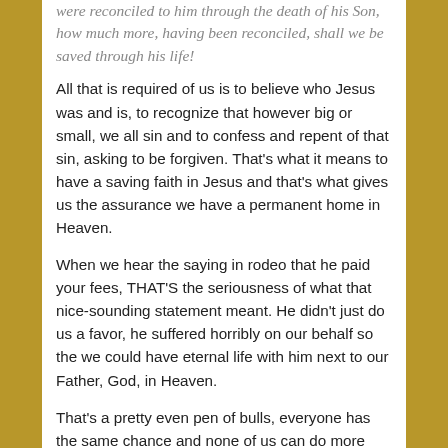were reconciled to him through the death of his Son, how much more, having been reconciled, shall we be saved through his life!
All that is required of us is to believe who Jesus was and is, to recognize that however big or small, we all sin and to confess and repent of that sin, asking to be forgiven. That's what it means to have a saving faith in Jesus and that's what gives us the assurance we have a permanent home in Heaven.
When we hear the saying in rodeo that he paid your fees, THAT'S the seriousness of what that nice-sounding statement meant. He didn't just do us a favor, he suffered horribly on our behalf so the we could have eternal life with him next to our Father, God, in Heaven.
That's a pretty even pen of bulls, everyone has the same chance and none of us can do more than another to earn our place there. Believe in Jesus, confess your sin, repent of it and ask to be forgiven.